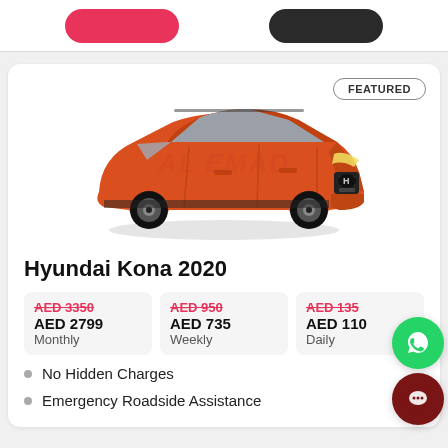[Figure (screenshot): Top navigation bar with a pink/red rounded button on the left and a dark rounded button on the right]
[Figure (photo): Orange/red Hyundai Kona 2020 SUV shown in 3/4 front view with AL EMAD watermark in background]
FEATURED
Hyundai Kona 2020
| Monthly | Weekly | Daily |
| --- | --- | --- |
| AED 3350 (strikethrough) | AED 950 (strikethrough) | AED 135 (strikethrough) |
| AED 2799 | AED 735 | AED 110 |
No Hidden Charges
Emergency Roadside Assistance